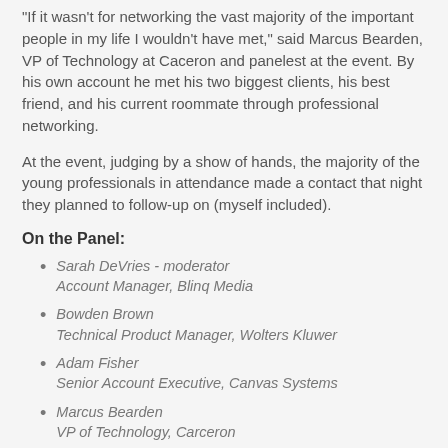"If it wasn't for networking the vast majority of the important people in my life I wouldn't have met," said Marcus Bearden, VP of Technology at Caceron and panelest at the event. By his own account he met his two biggest clients, his best friend, and his current roommate through professional networking.
At the event, judging by a show of hands, the majority of the young professionals in attendance made a contact that night they planned to follow-up on (myself included).
On the Panel:
Sarah DeVries - moderator
Account Manager, Blinq Media
Bowden Brown
Technical Product Manager, Wolters Kluwer
Adam Fisher
Senior Account Executive, Canvas Systems
Marcus Bearden
VP of Technology, Carceron